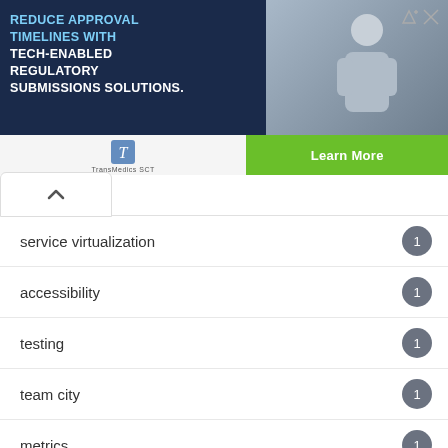[Figure (illustration): Advertisement banner: 'Reduce Approval Timelines with Tech-Enabled Regulatory Submissions Solutions.' with a photo of a person, a logo, and a green Learn More button]
service virtualization  1
accessibility  1
testing  1
team city  1
metrics  1
gulp  1
cypress  8
api testing  1